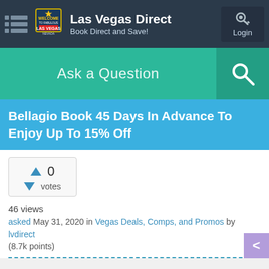Las Vegas Direct — Book Direct and Save! — Login
Ask a Question
Bellagio Book 45 Days In Advance To Enjoy Up To 15% Off
0 votes
46 views
asked May 31, 2020 in Vegas Deals, Comps, and Promos by lvdirect (8.7k points)